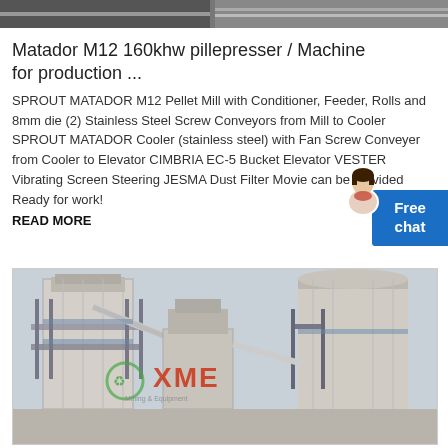[Figure (photo): Top partial image strip showing industrial machinery]
Matador M12 160khw pillepresser / Machine for production ...
SPROUT MATADOR M12 Pellet Mill with Conditioner, Feeder, Rolls and 8mm die (2) Stainless Steel Screw Conveyors from Mill to Cooler SPROUT MATADOR Cooler (stainless steel) with Fan Screw Conveyer from Cooler to Elevator CIMBRIA EC-5 Bucket Elevator VESTER Vibrating Screen Steering JESMA Dust Filter Movie can be provided Ready for work!
READ MORE
[Figure (photo): Industrial facility with large silos, conveyor systems and processing equipment, watermarked with XME Mining & Equipment logo]